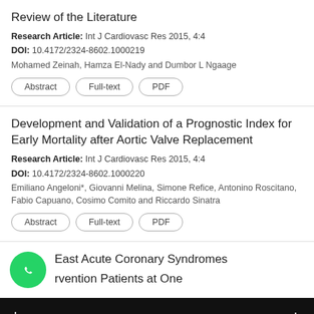Review of the Literature
Research Article: Int J Cardiovasc Res 2015, 4:4
DOI: 10.4172/2324-8602.1000219
Mohamed Zeinah, Hamza El-Nady and Dumbor L Ngaage
Abstract | Full-text | PDF
Development and Validation of a Prognostic Index for Early Mortality after Aortic Valve Replacement
Research Article: Int J Cardiovasc Res 2015, 4:4
DOI: 10.4172/2324-8602.1000220
Emiliano Angeloni*, Giovanni Melina, Simone Refice, Antonino Roscitano, Fabio Capuano, Cosimo Comito and Riccardo Sinatra
Abstract | Full-text | PDF
East Acute Coronary Syndromes
rvention Patients at One
[Figure (illustration): WhatsApp green phone icon with 'Leave a message +' dark overlay bar at bottom]